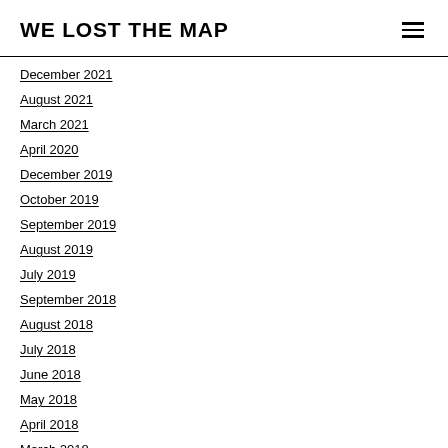WE LOST THE MAP
December 2021
August 2021
March 2021
April 2020
December 2019
October 2019
September 2019
August 2019
July 2019
September 2018
August 2018
July 2018
June 2018
May 2018
April 2018
March 2018